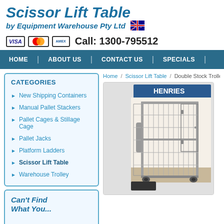Scissor Lift Table
by Equipment Warehouse Pty Ltd 🇦🇺
Call: 1300-795512
HOME | ABOUT US | CONTACT US | SPECIALS
CATEGORIES
New Shipping Containers
Manual Pallet Stackers
Pallet Cages & Stillage Cage
Pallet Jacks
Platform Ladders
Scissor Lift Table
Warehouse Trolley
Can't Find What You...
Home / Scissor Lift Table / Double Stock Trolley 720
[Figure (photo): Photo of a wire mesh double stock trolley/cage on wheels]